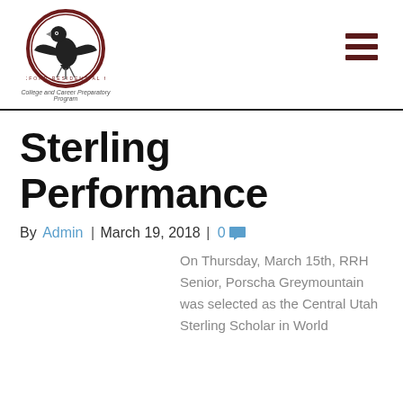[Figure (logo): RRH eagle logo in circular maroon border with text 'Residential Hall' and tagline 'College and Career Preparatory Program']
Sterling Performance
By Admin | March 19, 2018 | 0
On Thursday, March 15th, RRH Senior, Porscha Greymountain was selected as the Central Utah Sterling Scholar in World